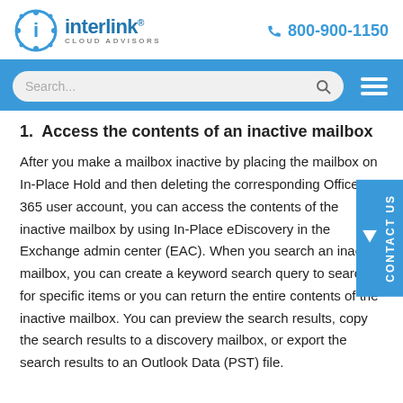[Figure (logo): Interlink Cloud Advisors logo with blue circular icon and company name]
800-900-1150
[Figure (other): Blue navigation bar with search box and hamburger menu]
1.  Access the contents of an inactive mailbox
After you make a mailbox inactive by placing the mailbox on In-Place Hold and then deleting the corresponding Office 365 user account, you can access the contents of the inactive mailbox by using In-Place eDiscovery in the Exchange admin center (EAC). When you search an inactive mailbox, you can create a keyword search query to search for specific items or you can return the entire contents of the inactive mailbox. You can preview the search results, copy the search results to a discovery mailbox, or export the search results to an Outlook Data (PST) file.